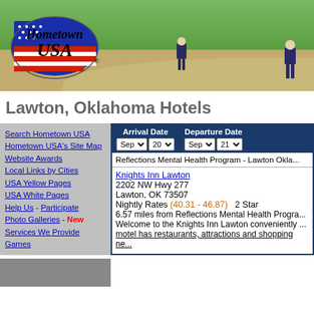[Figure (photo): Hometown USA website banner showing a baseball/softball field with players, and the Hometown USA logo (US map shape with stars and stripes) on the left side.]
Lawton, Oklahoma Hotels
Search Hometown USA
Hometown USA's Site Map
Website Awards
Local Links by Cities
USA Yellow Pages
USA White Pages
Help Us - Participate
Photo Galleries - New
Services We Provide
Games
| Arrival Date | Departure Date |
| --- | --- |
| Sep 20 | Sep 21 |
Reflections Mental Health Program - Lawton Okla...
Knights Inn Lawton
2202 NW Hwy 277
Lawton, OK 73507
Nightly Rates (40.31 - 46.87)  2 Star
6.57 miles from Reflections Mental Health Progra...
Welcome to the Knights Inn Lawton conveniently ...
motel has restaurants, attractions and shopping ne...